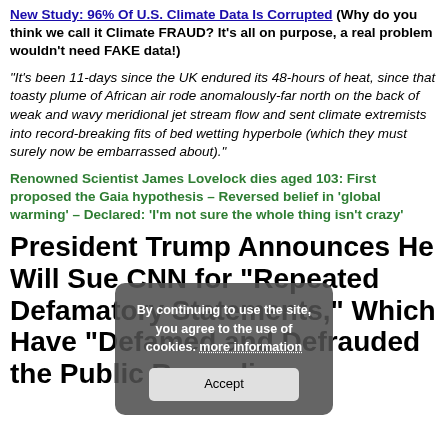New Study: 96% Of U.S. Climate Data Is Corrupted (Why do you think we call it Climate FRAUD? It's all on purpose, a real problem wouldn't need FAKE data!)
“It's been 11-days since the UK endured its 48-hours of heat, since that toasty plume of African air rode anomalously-far north on the back of weak and wavy meridional jet stream flow and sent climate extremists into record-breaking fits of bed wetting hyperbole (which they must surely now be embarrassed about).”
Renowned Scientist James Lovelock dies aged 103: First proposed the Gaia hypothesis – Reversed belief in ‘global warming’ – Declared: ‘I’m not sure the whole thing isn’t crazy’
President Trump Announces He Will Sue CNN for “Repeated Defamatory Statements,” Which Have “Defamed and Defrauded the Public Regarding
By continuing to use the site, you agree to the use of cookies. more information
Accept